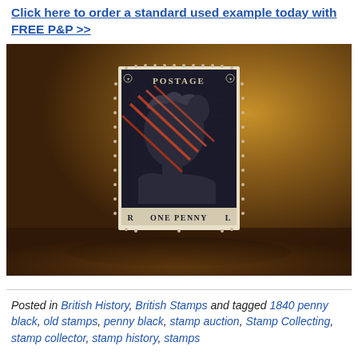Click here to order a standard used example today with FREE P&P >>
[Figure (photo): Close-up photograph of a Penny Black stamp (RL plate position) showing Queen Victoria profile in black with red/orange cancellation marks, on a dark wooden surface. The stamp reads POSTAGE at top and ONE PENNY at bottom, with R and L corner letters.]
Posted in British History, British Stamps and tagged 1840 penny black, old stamps, penny black, stamp auction, Stamp Collecting, stamp collector, stamp history, stamps